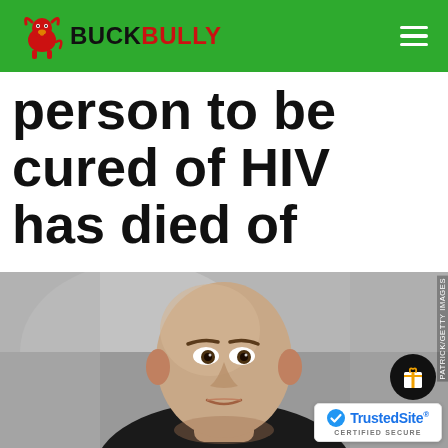BuckBully
person to be cured of HIV has died of cancer
[Figure (photo): Close-up photo of a bald man with a serious expression, facing slightly to the right. Photo credit: PATRICK/GETTY IMAGES. Overlaid with a TrustedSite CERTIFIED SECURE badge and a gift icon button.]